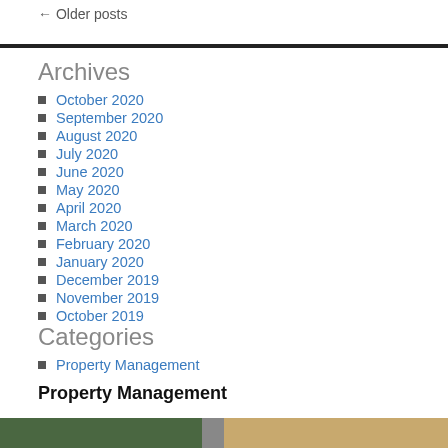← Older posts
Archives
October 2020
September 2020
August 2020
July 2020
June 2020
May 2020
April 2020
March 2020
February 2020
January 2020
December 2019
November 2019
October 2019
Categories
Property Management
Property Management
[Figure (photo): Bottom image showing greenery and stacked coins]